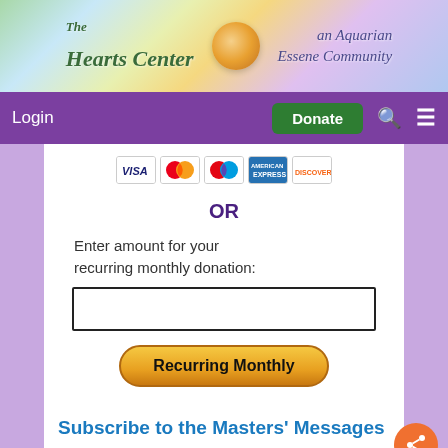[Figure (logo): The Hearts Center - an Aquarian Essene Community banner with colorful gradient background and rose icon]
Login | Donate
[Figure (other): Credit card icons: VISA, Mastercard, Maestro, American Express, Discover]
OR
Enter amount for your recurring monthly donation:
[Figure (other): Text input box for donation amount]
[Figure (other): Recurring Monthly button (gold/orange rounded button)]
Subscribe to the Masters' Messages
Name